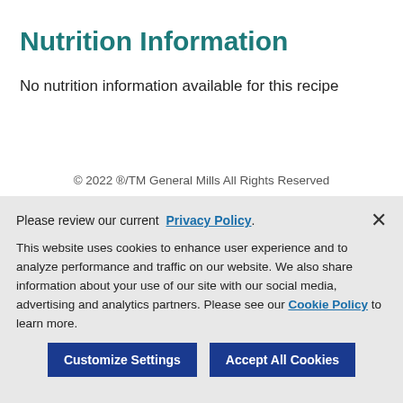Nutrition Information
No nutrition information available for this recipe
© 2022 ®/TM General Mills All Rights Reserved
Please review our current Privacy Policy.
This website uses cookies to enhance user experience and to analyze performance and traffic on our website. We also share information about your use of our site with our social media, advertising and analytics partners. Please see our Cookie Policy to learn more.